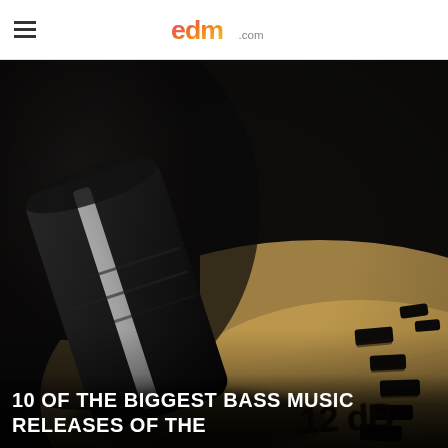edm.com
[Figure (photo): Close-up photo of a dark/black audio equalizer or mixer fader knob resting on a golden/tan surface with markings including '12 dB' visible in the lower right corner. The image is dark and moody with shallow depth of field.]
10 OF THE BIGGEST BASS MUSIC RELEASES OF THE